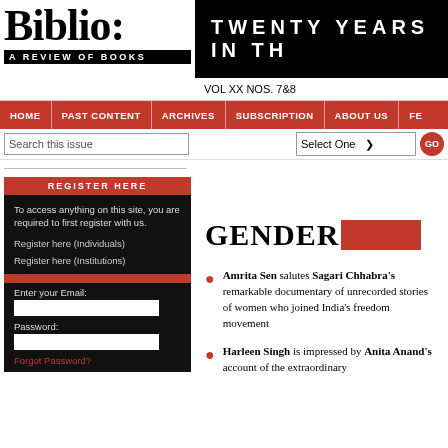Biblio: A REVIEW OF BOOKS
TWENTY YEARS IN TH
VOL XX NOS. 7&8
HOME | PAST CONTENT | ARCHIVES | SUBSCRIPTION | ABOUT US | FE
Search this issue | Select One | GO
REGISTER HERE
To access anything on this site, you are required to first register with us.
Register here (Individuals)
Register here (Institutions)
Enter your Email:
Password:
Forgot Password?
GENDER
Amrita Sen salutes Sagari Chhabra's remarkable documentary of unrecorded stories of women who joined India's freedom movement
Harleen Singh is impressed by Anita Anand's account of the extraordinary